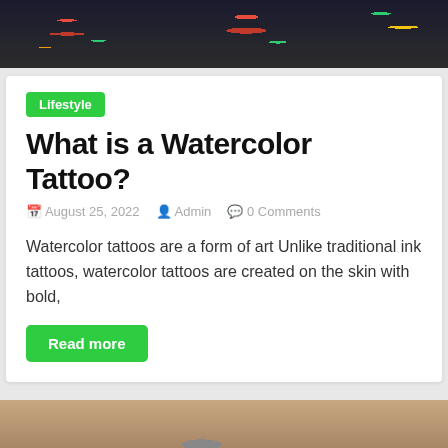[Figure (photo): Colorful watercolor tattoo artwork on skin — top banner image with floral tattoo designs in red, green, and yellow on dark background]
Lifestyle
What is a Watercolor Tattoo?
August 25, 2022  Admin  0 Comments
Watercolor tattoos are a form of art Unlike traditional ink tattoos, watercolor tattoos are created on the skin with bold,
Read more
[Figure (photo): Person sitting outdoors, wearing black leggings and grey top, with tattoo visible, sandy/rocky ground background]